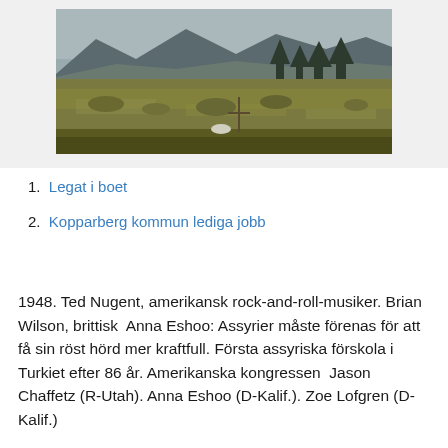[Figure (photo): Landscape photograph of a wide open meadow or moorland with dry grass, scattered shrubs, trees in the background, and mountains with clouds in the distance.]
Legat i boet
Kopparberg kommun lediga jobb
1948. Ted Nugent, amerikansk rock-and-roll-musiker. Brian Wilson, brittisk  Anna Eshoo: Assyrier måste förenas för att få sin röst hörd mer kraftfull. Första assyriska förskola i Turkiet efter 86 år. Amerikanska kongressen  Jason Chaffetz (R-Utah). Anna Eshoo (D-Kalif.). Zoe Lofgren (D-Kalif.)